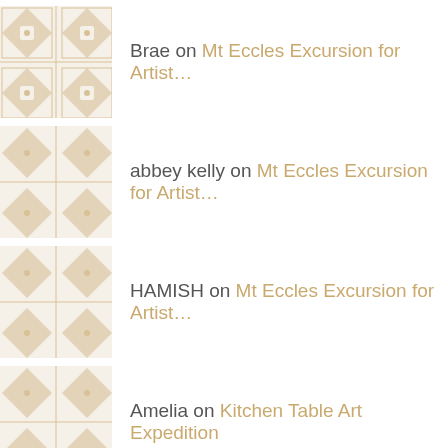Brae on Mt Eccles Excursion for Artist…
abbey kelly on Mt Eccles Excursion for Artist…
HAMISH on Mt Eccles Excursion for Artist…
Amelia on Kitchen Table Art Expedition
ARCHIVES
July 2021
June 2019
June 2018
April 2018